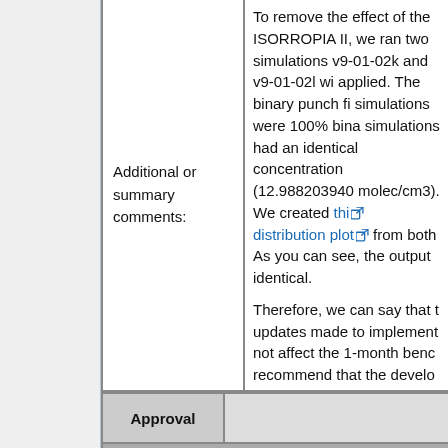|  | Additional or summary comments: |  |
| --- | --- | --- |
|  | To remove the effect of the ISORROPIA II, we ran two simulations v9-01-02k and v9-01-02l with applied. The binary punch file simulations were 100% binary simulations had an identical concentration (12.9882039... molec/cm3). We created this distribution plot from both. As you can see, the output is identical.

Therefore, we can say that the updates made to implement did not affect the 1-month benchmark. We recommend that the developer do testing to make sure that the package is working properly. |  |
| Approval |  |  |